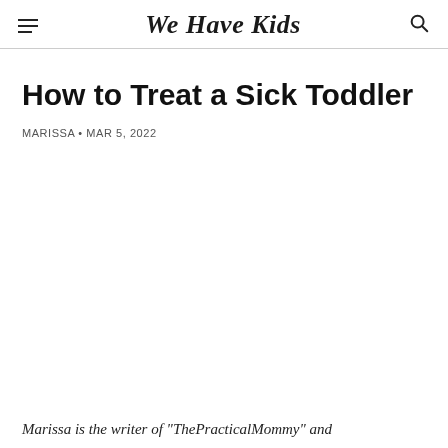We Have Kids
How to Treat a Sick Toddler
MARISSA • MAR 5, 2022
Marissa is the writer of "ThePracticalMommy" and